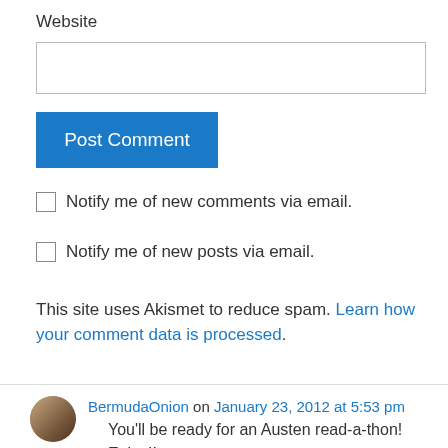Website
[Figure (screenshot): Website text input field (empty)]
[Figure (screenshot): Post Comment button (blue)]
Notify me of new comments via email.
Notify me of new posts via email.
This site uses Akismet to reduce spam. Learn how your comment data is processed.
BermudaOnion on January 23, 2012 at 5:53 pm
You'll be ready for an Austen read-a-thon! Enjoy!!